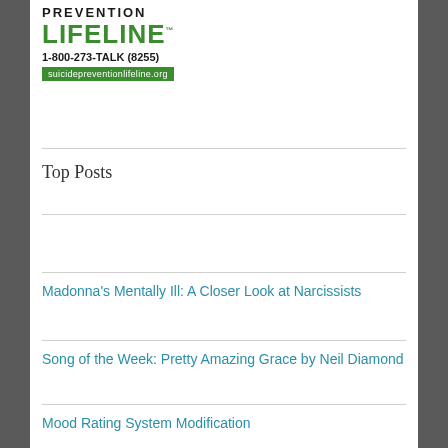[Figure (logo): Suicide Prevention Lifeline logo with phone number 1-800-273-TALK (8255) and website suicidepreventionlifeline.org]
Top Posts
Madonna's Mentally Ill: A Closer Look at Narcissists
Song of the Week: Pretty Amazing Grace by Neil Diamond
Mood Rating System Modification